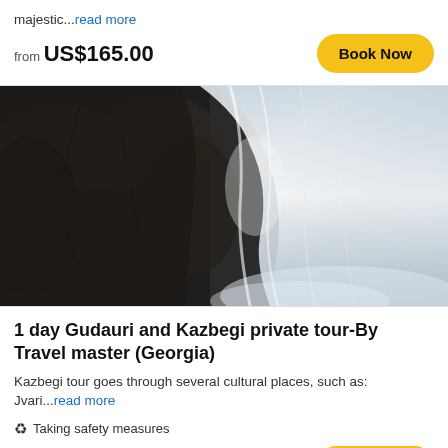majestic...read more
from US$165.00
[Figure (photo): Waterfall cascading over dark rocky cliff face with white rushing water and mist]
1 day Gudauri and Kazbegi private tour-By Travel master (Georgia)
Kazbegi tour goes through several cultural places, such as: Jvari...read more
Taking safety measures